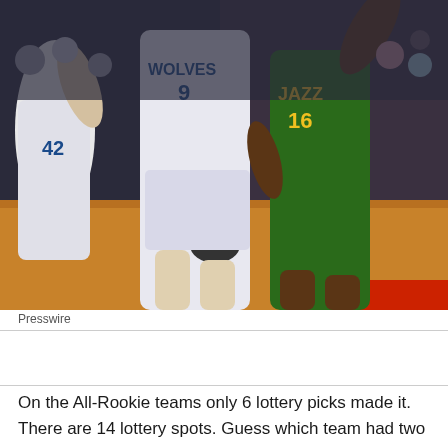[Figure (photo): NBA basketball game action photo showing Utah Jazz player in green #16 jersey driving past Minnesota Timberwolves players in white jerseys (#42 and #9) on an indoor basketball court with crowd in background]
Presswire
On the All-Rookie teams only 6 lottery picks made it. There are 14 lottery spots. Guess which team had two